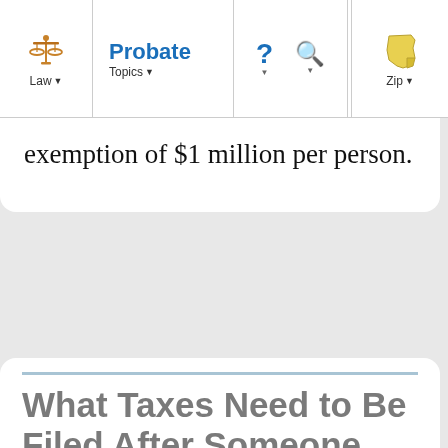Law | Probate Topics | Zip
exemption of $1 million per person.
What Taxes Need to Be Filed After Someone Dies?